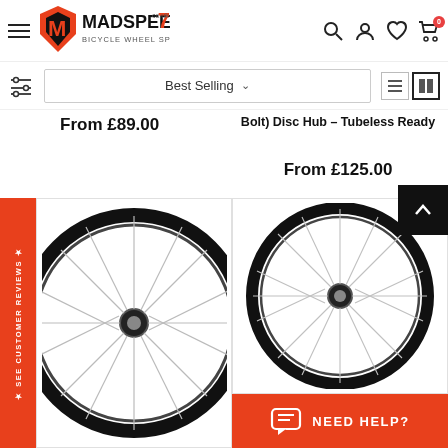[Figure (logo): MadSpeed7 Bicycle Wheel Specialist logo with orange M icon and black text]
[Figure (screenshot): Website toolbar with filter icon, Best Selling sort dropdown, and list/grid view toggle icons]
From £89.00
Bolt) Disc Hub - Tubeless Ready
From £125.00
[Figure (photo): Black and silver bicycle wheel with disc hub - left product]
[Figure (photo): Black and silver bicycle wheel with disc hub - right product]
★ SEE CUSTOMER REVIEWS ★
NEED HELP?